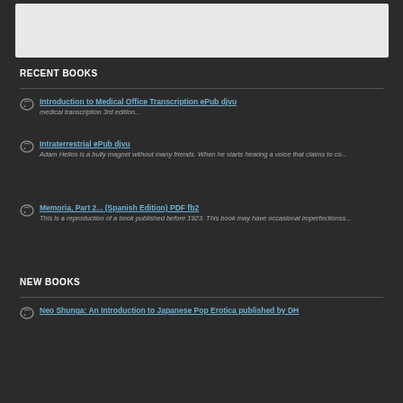[Figure (other): Gray rectangular image area at top of page]
RECENT BOOKS
Introduction to Medical Office Transcription ePub djvu — medical transcription 3rd edition...
Intraterrestrial ePub djvu — Adam Helios is a bully magnet without many friends. When he starts hearing a voice that claims to co...
Memoria, Part 2... (Spanish Edition) PDF fb2 — This is a reproduction of a book published before 1923. This book may have occasional imperfectionss...
NEW BOOKS
Neo Shunga: An Introduction to Japanese Pop Erotica published by DH